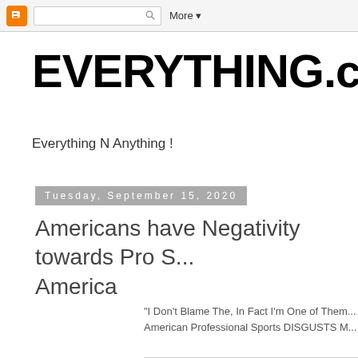Blogger navigation bar with logo, search box, More
EVERYTHING.com
Everything N Anything !
Tuesday, September 15, 2020
Americans have Negativity towards Pro S... America
"I Don't Blame The, In Fact I'm One of Them... American Professional Sports DISGUSTS M...